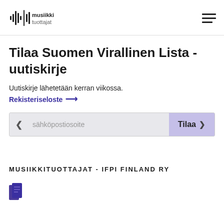musiikki tuottajat
Tilaa Suomen Virallinen Lista -uutiskirje
Uutiskirje lähetetään kerran viikossa.
Rekisteriseloste →
sähköpostiosoite  Tilaa
MUSIIKKITUOTTAJAT - IFPI FINLAND RY